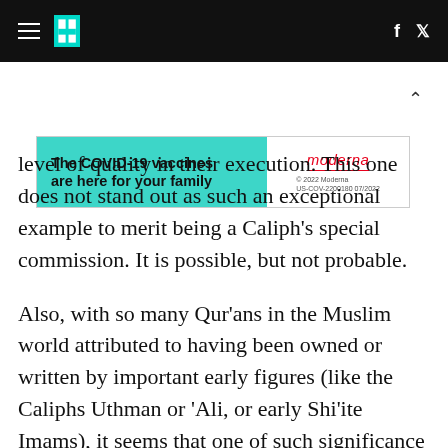HuffPost navigation bar with hamburger menu, HuffPost logo, Facebook and Twitter icons
[Figure (other): Advertisement banner: 'The COVID-19 vaccines are here for your family' with Moderna branding on teal background]
level of quality in their execution. This one does not stand out as such an exceptional example to merit being a Caliph's special commission. It is possible, but not probable.
Also, with so many Qur'ans in the Muslim world attributed to having been owned or written by important early figures (like the Caliphs Uthman or 'Ali, or early Shi'ite Imams), it seems that one of such significance would have been preserved with more care. The Islamic traditions, however, say that Uthman had all Qur'ans prior to his version (c. 650 CE) ordered destroyed after he